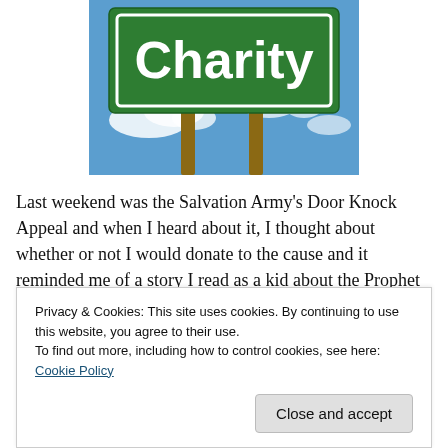[Figure (photo): A green road sign reading 'Charity' in white text, mounted on two wooden posts against a blue sky with clouds.]
Last weekend was the Salvation Army's Door Knock Appeal and when I heard about it, I thought about whether or not I would donate to the cause and it reminded me of a story I read as a kid about the Prophet Ibrahim (A.S) or...
Privacy & Cookies: This site uses cookies. By continuing to use this website, you agree to their use.
To find out more, including how to control cookies, see here: Cookie Policy